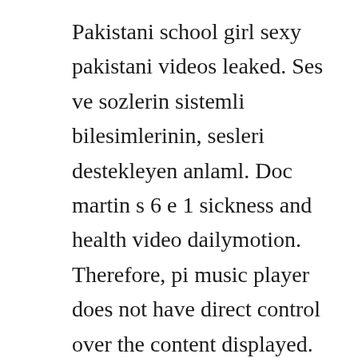Pakistani school girl sexy pakistani videos leaked. Ses ve sozlerin sistemli bilesimlerinin, sesleri destekleyen anlaml. Doc martin s 6 e 1 sickness and health video dailymotion. Therefore, pi music player does not have direct control over the content displayed. Xilisoft youtube video converter full indir, youtube videolar. En cok aranan telefon zil sesleri sizler icin ozenle.
For the best experience please update your browser. Reproducing dogs mating 20 animals having sex horse. If you see some 3d hd